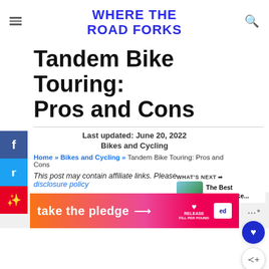WHERE THE ROAD FORKS
Tandem Bike Touring: Pros and Cons
Last updated: June 20, 2022
Bikes and Cycling
Home » Bikes and Cycling » Tandem Bike Touring: Pros and Cons
[Figure (other): What's Next promo with thumbnail of landscape and text 'The Best Folding Bike...']
This post may contain affiliate links. Please see my disclosure policy
[Figure (other): Advertisement banner - take the pledge with RELEASE and other branding]